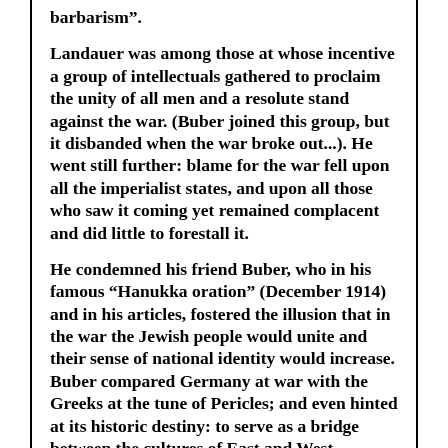barbarism”.
Landauer was among those at whose incentive a group of intellectuals gathered to proclaim the unity of all men and a resolute stand against the war. (Buber joined this group, but it disbanded when the war broke out...). He went still further: blame for the war fell upon all the imperialist states, and upon all those who saw it coming yet remained complacent and did little to forestall it.
He condemned his friend Buber, who in his famous “Hanukka oration” (December 1914) and in his articles, fostered the illusion that in the war the Jewish people would unite and their sense of national identity would increase. Buber compared Germany at war with the Greeks at the tune of Pericles; and even hinted at its historic destiny: to serve as a bridge between the cultures of East and West.
Landauer saw in this a justification of the war and its fate, and his relation...